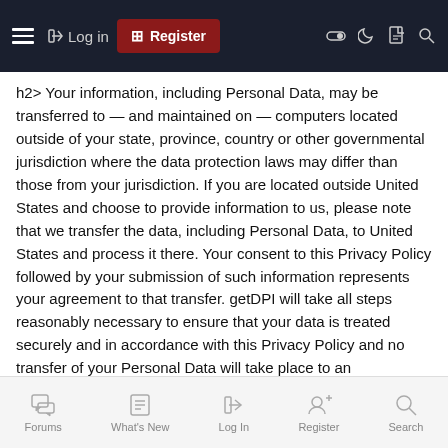Log in | Register
h2> Your information, including Personal Data, may be transferred to — and maintained on — computers located outside of your state, province, country or other governmental jurisdiction where the data protection laws may differ than those from your jurisdiction. If you are located outside United States and choose to provide information to us, please note that we transfer the data, including Personal Data, to United States and process it there. Your consent to this Privacy Policy followed by your submission of such information represents your agreement to that transfer. getDPI will take all steps reasonably necessary to ensure that your data is treated securely and in accordance with this Privacy Policy and no transfer of your Personal Data will take place to an organization or a country unless there are adequate controls in place including the security of your data and other personal information.
Disclosure of Data
Forums | What's New | Log In | Register | Search